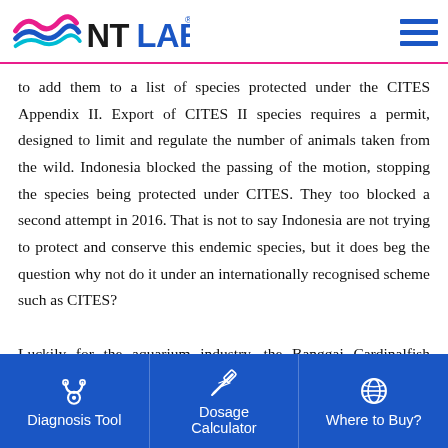NT Labs
to add them to a list of species protected under the CITES Appendix II. Export of CITES II species requires a permit, designed to limit and regulate the number of animals taken from the wild. Indonesia blocked the passing of the motion, stopping the species being protected under CITES. They too blocked a second attempt in 2016. That is not to say Indonesia are not trying to protect and conserve this endemic species, but it does beg the question why not do it under an internationally recognised scheme such as CITES?

Luckily for the aquarium industry, the Banggai Cardinalfish proved easy to breed in captivity. They form monogamous pairs, led by the
Diagnosis Tool | Dosage Calculator | Where to Buy?